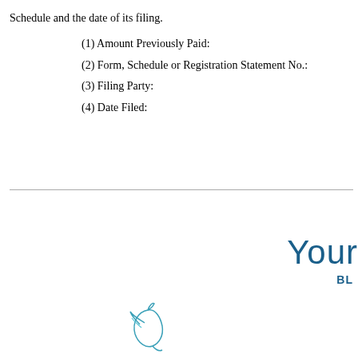Schedule and the date of its filing.
(1) Amount Previously Paid:
(2) Form, Schedule or Registration Statement No.:
(3) Filing Party:
(4) Date Filed:
[Figure (logo): Partial text 'Your' in large blue serif font with 'BL' in smaller bold blue text below, and a teal/blue bird illustration at bottom left]
[Figure (illustration): Teal and blue stylized bird logo at bottom center of page]